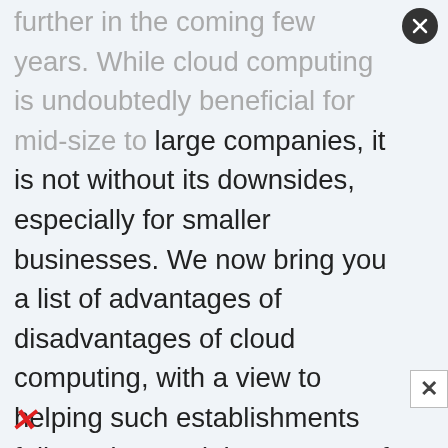further in the coming few years. While cloud computing is undoubtedly beneficial for mid-size to large companies, it is not without its downsides, especially for smaller businesses. We now bring you a list of advantages of disadvantages of cloud computing, with a view to helping such establishments fully understand the concept of cloud computing. Saas, Paas and IaaS in the Mobile Industry Advantages of Cloud Computing If used properly and to the extent necessary, working with data in the cloud can vastly benefit all types of businesses. Mentioned below are some of the advantages of this technology: Why Cloud Computing Is Ideal for Small Businesses Cost Efficient Cloud computing is probably the most cost efficient method to use, maintain and upgrade. Traditional desktop software costs companies a lot in terms of finance.